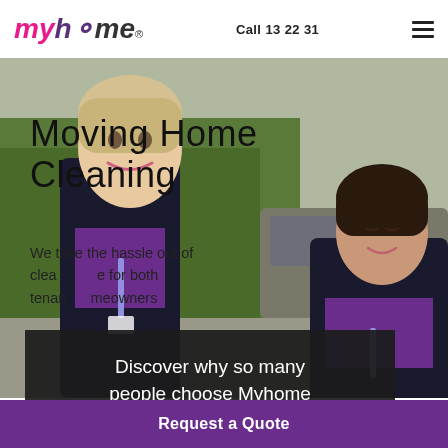[Figure (logo): myhome logo in pink and purple italic lettering with registered trademark symbol]
Call 13 22 31
[Figure (photo): Two women in purple uniforms and black jackets smiling, standing outdoors near green hedges and a vehicle]
Moving Home Cleaning
We take the hassle out of cleaning for both tenants and homeowners
Discover why so many people choose Myhome
Request a Quote